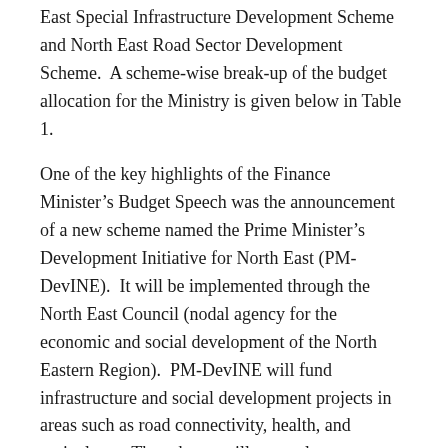East Special Infrastructure Development Scheme and North East Road Sector Development Scheme.  A scheme-wise break-up of the budget allocation for the Ministry is given below in Table 1.
One of the key highlights of the Finance Minister's Budget Speech was the announcement of a new scheme named the Prime Minister's Development Initiative for North East (PM-DevINE).  It will be implemented through the North East Council (nodal agency for the economic and social development of the North Eastern Region).  PM-DevINE will fund infrastructure and social development projects in areas such as road connectivity, health, and agriculture.  The scheme will not replace or subsume existing central sector or centrally sponsored schemes.  The Scheme will be given an initial allocation of Rs 1,500 crore.
Table 1: Break-up of allocation to the Ministry of...